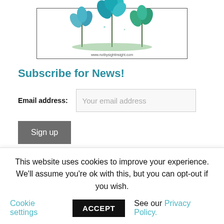[Figure (illustration): Watercolor-style teal/blue flowers with stems growing upward inside a hand-drawn rectangular frame. Website watermark: www.notbysightinsight.com]
Subscribe for News!
Email address: [Your email address input field]
Sign up
Recent Posts
This website uses cookies to improve your experience. We'll assume you're ok with this, but you can opt-out if you wish. Cookie settings ACCEPT See our Privacy Policy.